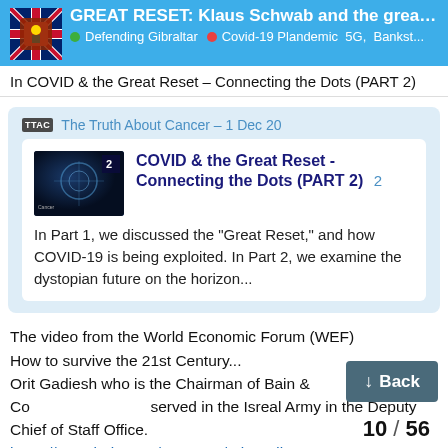GREAT RESET: Klaus Schwab and the great fas... | Defending Gibraltar | Covid-19 Plandemic 5G, Bankst...
In COVID & the Great Reset – Connecting the Dots (PART 2)
TTAC The Truth About Cancer – 1 Dec 20
[Figure (screenshot): Thumbnail image for COVID & the Great Reset - Connecting the Dots (PART 2) video with badge showing '2']
COVID & the Great Reset - Connecting the Dots (PART 2) 2
In Part 1, we discussed the "Great Reset," and how COVID-19 is being exploited. In Part 2, we examine the dystopian future on the horizon...
The video from the World Economic Forum (WEF)
How to survive the 21st Century...
Orit Gadiesh who is the Chairman of Bain & Co served in the Isreal Army in the Deputy Chief of Staff Office.
https://www.bain.com/our-team/orit-gadies
Bain is one of the world's leading consu